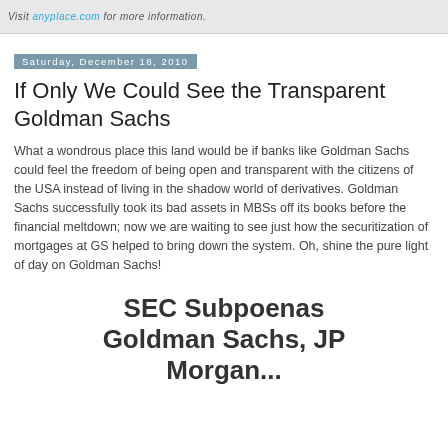Visit anyplace.com for more information.
Saturday, December 18, 2010
If Only We Could See the Transparent Goldman Sachs
What a wondrous place this land would be if banks like Goldman Sachs could feel the freedom of being open and transparent with the citizens of the USA instead of living in the shadow world of derivatives. Goldman Sachs successfully took its bad assets in MBSs off its books before the financial meltdown; now we are waiting to see just how the securitization of mortgages at GS helped to bring down the system. Oh, shine the pure light of day on Goldman Sachs!
SEC Subpoenas Goldman Sachs, JP Morgan...